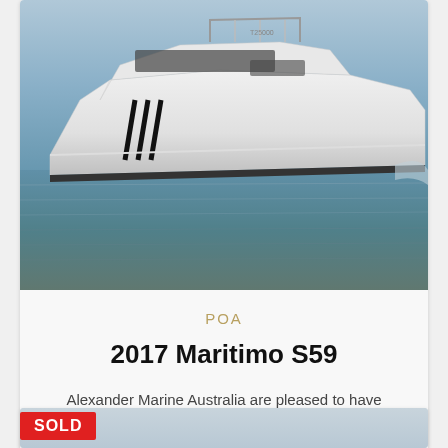[Figure (photo): White motor yacht (2017 Maritimo S59 named Arwen) on water, viewed from the side-front, with blue-grey water and sky background.]
POA
2017 Maritimo S59
Alexander Marine Australia are pleased to have SOLD this 2017 Maritimo S59. 'Arwen' was presented ...
[Figure (photo): Partial view of another boat listing with a SOLD badge overlay in red.]